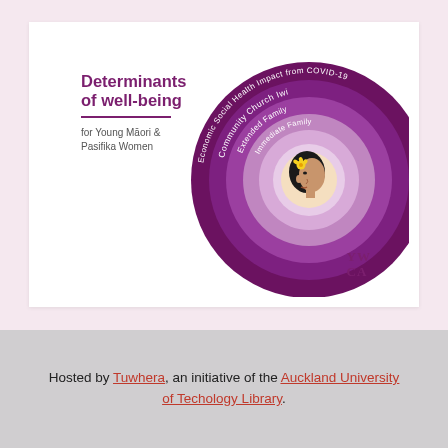[Figure (infographic): Concentric circles diagram showing Determinants of well-being for Young Māori & Pasifika Women, with layers labeled (from outside in): Economic Social Health Impact from COVID-19, Community Church Iwi, Extended Family, Immediate Family, and a central illustration of a young Pasifika/Māori woman in profile with a yellow flower in her hair. YWCA logo at bottom right.]
Hosted by Tuwhera, an initiative of the Auckland University of Techology Library.